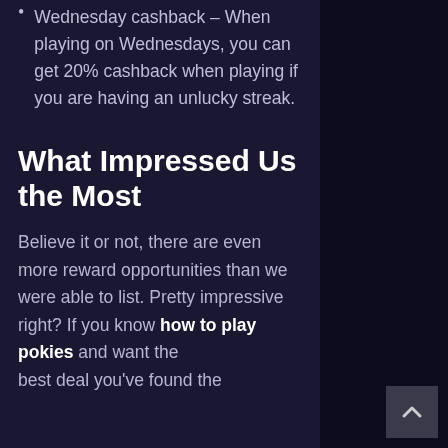Wednesday cashback – When playing on Wednesdays, you can get 20% cashback when playing if you are having an unlucky streak.
What Impressed Us the Most
Believe it or not, there are even more reward opportunities than we were able to list. Pretty impressive right? If you know how to play pokies and want the best deal you've found the